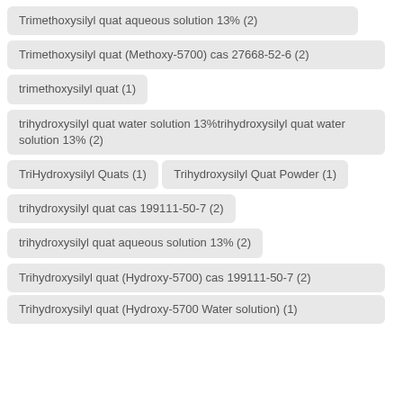Trimethoxysilyl quat aqueous solution 13% (2)
Trimethoxysilyl quat (Methoxy-5700) cas 27668-52-6 (2)
trimethoxysilyl quat (1)
trihydroxysilyl quat water solution 13%trihydroxysilyl quat water solution 13% (2)
TriHydroxysilyl Quats (1)
Trihydroxysilyl Quat Powder (1)
trihydroxysilyl quat cas 199111-50-7 (2)
trihydroxysilyl quat aqueous solution 13% (2)
Trihydroxysilyl quat (Hydroxy-5700) cas 199111-50-7 (2)
Trihydroxysilyl quat (Hydroxy-5700 Water solution) (1)